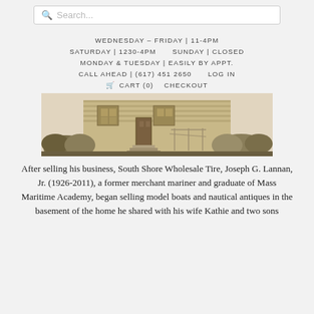Search...
WEDNESDAY – FRIDAY | 11-4PM
SATURDAY | 1230-4PM   SUNDAY | CLOSED
MONDAY & TUESDAY | EASILY BY APPT.
CALL AHEAD | (617) 451 2650   LOG IN
🛒 CART (0)   CHECKOUT
[Figure (photo): Sepia-toned photograph of a house exterior with shrubs and steps]
After selling his business, South Shore Wholesale Tire, Joseph G. Lannan, Jr. (1926-2011), a former merchant mariner and graduate of Mass Maritime Academy, began selling model boats and nautical antiques in the basement of the home he shared with his wife Kathie and two sons